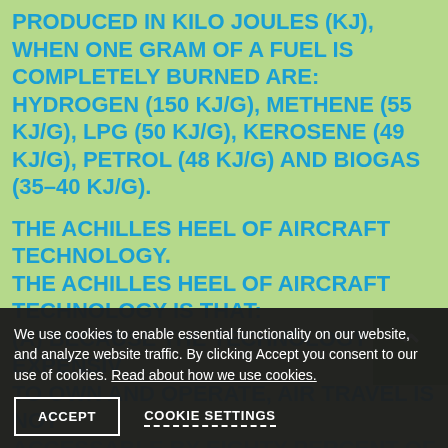PRODUCED IN KILO JOULES (KJ), WHEN ONE GRAM OF A FUEL IS COMPLETELY BURNED ARE: HYDROGEN (150 KJ/G), METHENE (55 KJ/G), LPG (50 KJ/G), KEROSENE (49 KJ/G), PETROL (48 KJ/G) AND BIOGAS (35-40 KJ/G).
THE ACHILLES HEEL OF AIRCRAFT TECHNOLOGY. THE ACHILLES HEEL OF AIRCRAFT TECHNOLOGY IS THAT: (A) BECAUSE THE TECHNOLOGY IS SO EXPENSIVE TO OWN AND OPERATE, AIR TRAVEL IS NOT ACCESSABLE BY EIGHTY PERCENT OF THE WORLD'S POPULATION. AVIATION PRODUCTION IS RESPONSIBLE FOR HALF OF AVIATION EMISSIONS.
(B) AS THE JET ENGINE BURNS THE JET-A FUEL,
We use cookies to enable essential functionality on our website, and analyze website traffic. By clicking Accept you consent to our use of cookies. Read about how we use cookies.